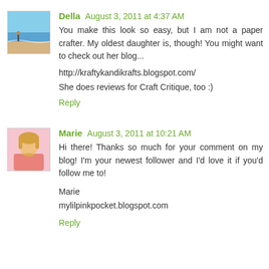[Figure (photo): Avatar photo of Della, showing a beach scene with ocean and a figure on the shore]
Della August 3, 2011 at 4:37 AM
You make this look so easy, but I am not a paper crafter. My oldest daughter is, though! You might want to check out her blog...
http://kraftykandikrafts.blogspot.com/
She does reviews for Craft Critique, too :)
Reply
[Figure (photo): Avatar photo of Marie, a woman with blonde hair wearing a pink top]
Marie August 3, 2011 at 10:21 AM
Hi there! Thanks so much for your comment on my blog! I'm your newest follower and I'd love it if you'd follow me to!
Marie
mylilpinkpocket.blogspot.com
Reply